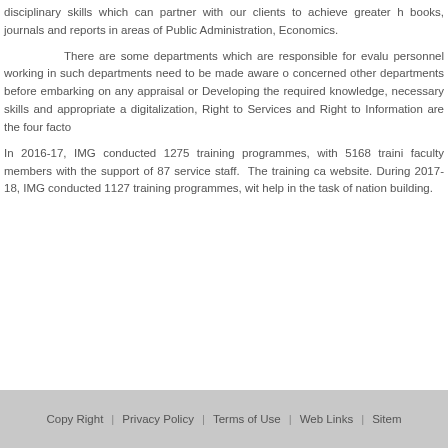disciplinary skills which can partner with our clients to achieve greater h books, journals and reports in areas of Public Administration, Economics.
There are some departments which are responsible for evalu personnel working in such departments need to be made aware of concerned other departments before embarking on any appraisal or Developing the required knowledge, necessary skills and appropriate a digitalization, Right to Services and Right to Information are the four facto
In 2016-17, IMG conducted 1275 training programmes, with 5168 traini faculty members with the support of 87 service staff. The training ca website. During 2017-18, IMG conducted 1127 training programmes, wit help in the task of nation building.
Copy Right | Privacy Policy | Terms of Use | Web Links | Sitem